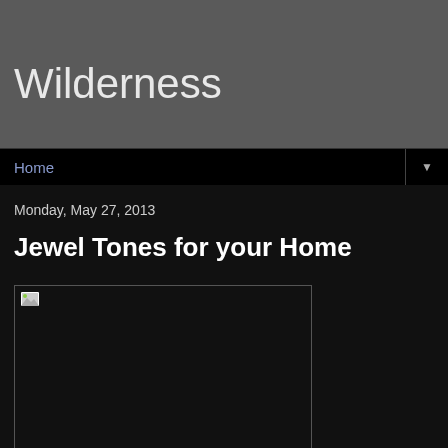Wilderness
Home
Monday, May 27, 2013
Jewel Tones for your Home
[Figure (photo): Image placeholder with broken image icon, dark background, bordered rectangle]